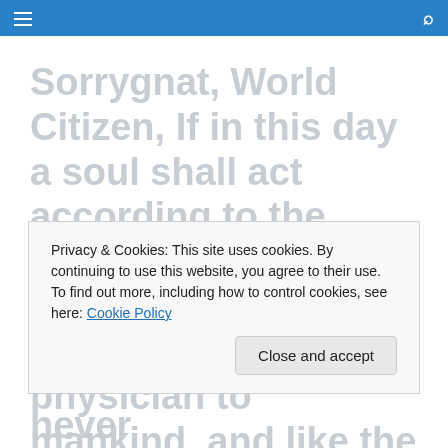Navigation bar with menu and search icons
Sorrygnat, World Citizen, If in this day a soul shall act according to the precepts and the counsels of God, he will serve as a divine physician to mankind, and like the trump of Isráfíl, 1 he
Privacy & Cookies: This site uses cookies. By continuing to use this website, you agree to their use.
To find out more, including how to control cookies, see here: Cookie Policy
Close and accept
Abhá Realm are never